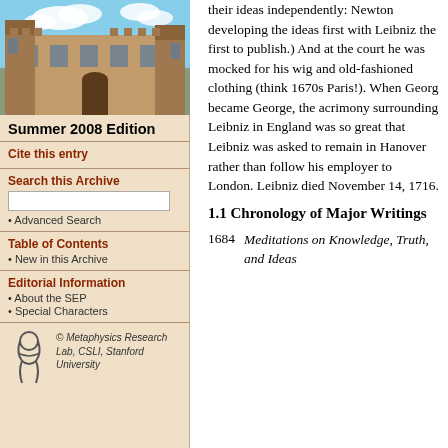[Figure (photo): Photograph of a historic stone university building with blue sky and clouds]
Summer 2008 Edition
Cite this entry
Search this Archive
Advanced Search
Table of Contents
New in this Archive
Editorial Information
About the SEP
Special Characters
© Metaphysics Research Lab, CSLI, Stanford University
their ideas independently: Newton developing the ideas first with Leibniz the first to publish.) And at the court he was mocked for his wig and old-fashioned clothing (think 1670s Paris!). When Georg became George, the acrimony surrounding Leibniz in England was so great that Leibniz was asked to remain in Hanover rather than follow his employer to London. Leibniz died November 14, 1716.
1.1 Chronology of Major Writings
1684  Meditations on Knowledge, Truth, and Ideas